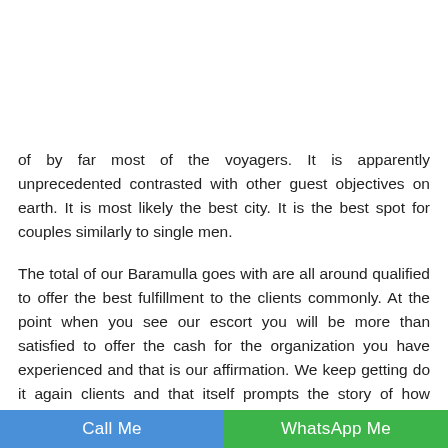[Figure (logo): Website logo with stylized pink italic text on left and right sides, overlaid by dark navigation bar with Menu label and hamburger icon]
of by far most of the voyagers. It is apparently unprecedented contrasted with other guest objectives on earth. It is most likely the best city. It is the best spot for couples similarly to single men.
The total of our Baramulla goes with are all around qualified to offer the best fulfillment to the clients commonly. At the point when you see our escort you will be more than satisfied to offer the cash for the organization you have experienced and that is our affirmation. We keep getting do it again clients and that itself prompts the story of how incredibly our escort girls give and fulfill them. Best in school and may give you the tende
Call Me   WhatsApp Me